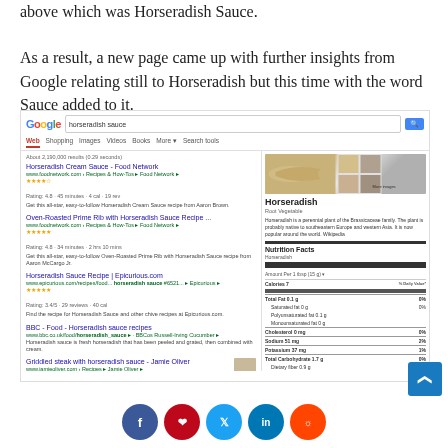above which was Horseradish Sauce. As a result, a new page came up with further insights from Google relating still to Horseradish but this time with the word Sauce added to it.
[Figure (screenshot): Google search results page for 'horseradish sauce' showing multiple recipe results and a knowledge graph panel for Horseradish with nutrition facts]
[Figure (infographic): Social sharing bar with Facebook, Pinterest, Twitter, LinkedIn, and Reddit buttons]